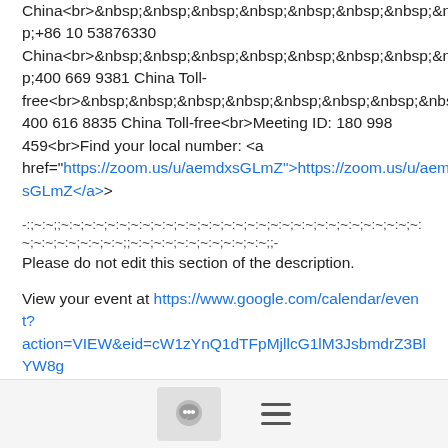China<br>&nbsp;&nbsp;&nbsp;&nbsp;&nbsp;&nbsp;&nbsp;&nbsp;+86 10 53876330 China<br>&nbsp;&nbsp;&nbsp;&nbsp;&nbsp;&nbsp;&nbsp;&nbsp;400 669 9381 China Toll-free<br>&nbsp;&nbsp;&nbsp;&nbsp;&nbsp;&nbsp;&nbsp;&nbsp;400 616 8835 China Toll-free<br>Meeting ID: 180 998 459<br>Find your local number: <a href="https://zoom.us/u/aemdxsGLmZ">https://zoom.us/u/aemdxsGLmZ</a>
-:;~:~;;~:~;~:~;~:~;~:~;~:~;~:~;~:~;~:~;~:~;~:~;~:~;~:~;~:~;~:~;~:~;~:~;~:~;~:~;~:~;~:~;;~:~;~:~;~:~;~:~;~:~;~:~;;-
Please do not edit this section of the description.
View your event at https://www.google.com/calendar/event?action=VIEW&eid=cW1zYnQ1dTFpMjllcG1lM3JsbmdrZ3BlYW8gZmVpbG9uZy1kaXNjdXNzaW9uQGxjpc3RzLm9wZW5tZW5hluZnJhbWVwb20qZWN0Lm9yZywmdok=Mjcjam1lcnRpY0BsaW51eGZvdW5kYXRpb24ub3JnZmhlWTlIwMDg1ZTc2Y2Q0NjA1YXpAwMDc1Nrk4MmM0OTc=PlQTl3Mw&ctz=America%2FNew_York&hl=
[Figure (other): Bottom navigation bar with chat bubble icon button and hamburger menu icon]